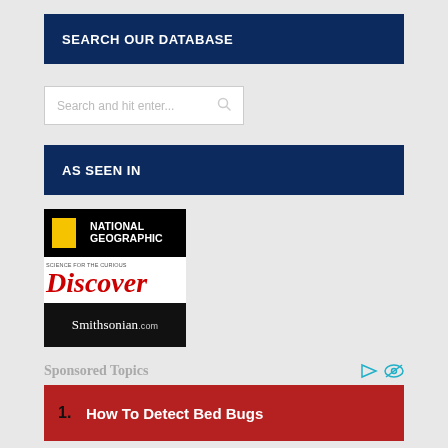SEARCH OUR DATABASE
[Figure (screenshot): Search input box with placeholder text 'Search and hit enter...' and a search icon]
AS SEEN IN
[Figure (logo): National Geographic logo — yellow rectangle on black background with 'NATIONAL GEOGRAPHIC' text in white]
[Figure (logo): Discover magazine logo — red italic 'Discover' text with 'SCIENCE FOR THE CURIOUS' subtitle]
[Figure (logo): Smithsonian.com logo — white text on black background]
Sponsored Topics
1. How To Detect Bed Bugs